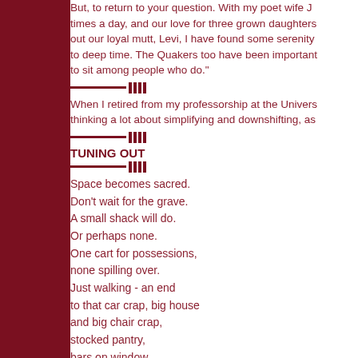But, to return to your question. With my poet wife J times a day, and our love for three grown daughters out our loyal mutt, Levi, I have found some serenity to deep time. The Quakers too have been important to sit among people who do."
When I retired from my professorship at the Univers thinking a lot about simplifying and downshifting, as
TUNING OUT
Space becomes sacred.
Don't wait for the grave.
A small shack will do.
Or perhaps none.
One cart for possessions,
none spilling over.
Just walking - an end
to that car crap, big house
and big chair crap,
stocked pantry,
bars on window,
gold coins, stocks
stashed, plastic cards
the poor don't have,
basement bomb shelter